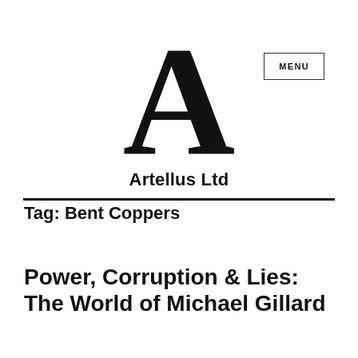[Figure (logo): Large capital letter A in serif font, serving as the Artellus Ltd logo]
Artellus Ltd
Tag: Bent Coppers
Power, Corruption & Lies: The World of Michael Gillard